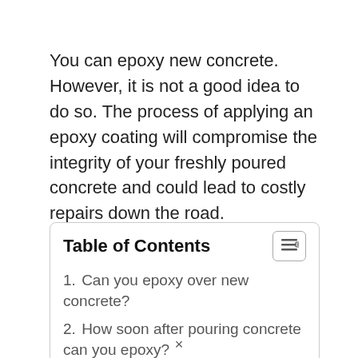You can epoxy new concrete. However, it is not a good idea to do so. The process of applying an epoxy coating will compromise the integrity of your freshly poured concrete and could lead to costly repairs down the road.
| 1. Can you epoxy over new concrete? |
| 2. How soon after pouring concrete can you epoxy? |